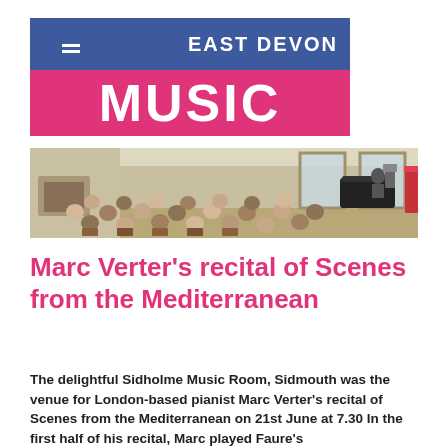EAST DEVON MUSIC
[Figure (photo): Concert scene showing audience seated in rows in a grand room with fireplace and large windows, a pianist performing at the far end with a grand piano]
Marc Verter's recital of Scenes from the Mediterranean
The delightful Sidholme Music Room, Sidmouth was the venue for London-based pianist Marc Verter's recital of Scenes from the Mediterranean on 21st June at 7.30 In the first half of his recital, Marc played Faure's